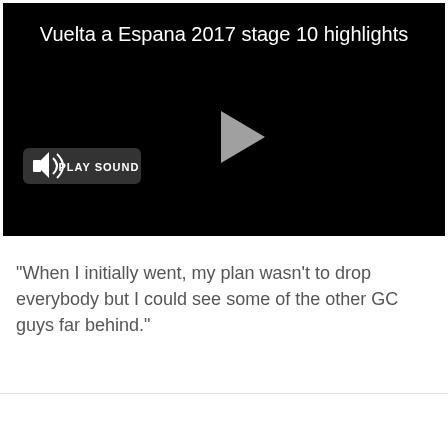[Figure (screenshot): Video player with black background showing title 'Vuelta a Espana 2017 stage 10 highlights', a play button in the center, and a 'PLAY SOUND' button with speaker icon in the lower left.]
"When I initially went, my plan wasn't to drop everybody but I could see some of the other GC guys far behind."